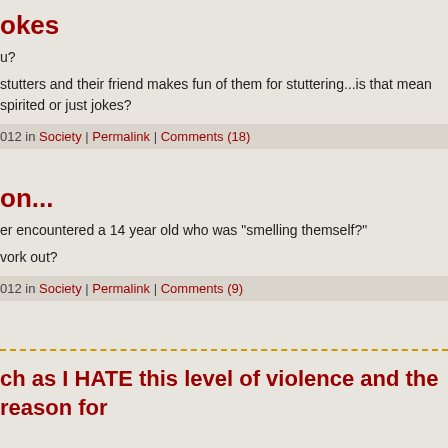okes
u?
stutters and their friend makes fun of them for stuttering...is that mean spirited or just jokes?
012 in Society | Permalink | Comments (18)
on...
er encountered a 14 year old who was "smelling themself?"
vork out?
012 in Society | Permalink | Comments (9)
ch as I HATE this level of violence and the reason for